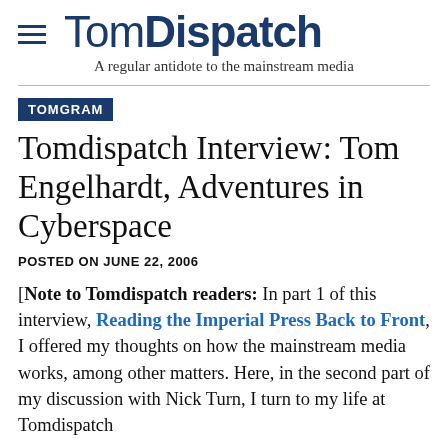TomDispatch — A regular antidote to the mainstream media
TOMGRAM
Tomdispatch Interview: Tom Engelhardt, Adventures in Cyberspace
POSTED ON JUNE 22, 2006
[Note to Tomdispatch readers: In part 1 of this interview, Reading the Imperial Press Back to Front, I offered my thoughts on how the mainstream media works, among other matters. Here, in the second part of my discussion with Nick Turn, I turn to my life at Tomdispatch